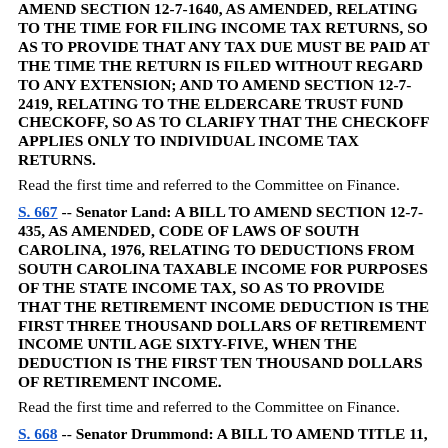AMEND SECTION 12-7-1640, AS AMENDED, RELATING TO THE TIME FOR FILING INCOME TAX RETURNS, SO AS TO PROVIDE THAT ANY TAX DUE MUST BE PAID AT THE TIME THE RETURN IS FILED WITHOUT REGARD TO ANY EXTENSION; AND TO AMEND SECTION 12-7-2419, RELATING TO THE ELDERCARE TRUST FUND CHECKOFF, SO AS TO CLARIFY THAT THE CHECKOFF APPLIES ONLY TO INDIVIDUAL INCOME TAX RETURNS.
Read the first time and referred to the Committee on Finance.
S. 667 -- Senator Land: A BILL TO AMEND SECTION 12-7-435, AS AMENDED, CODE OF LAWS OF SOUTH CAROLINA, 1976, RELATING TO DEDUCTIONS FROM SOUTH CAROLINA TAXABLE INCOME FOR PURPOSES OF THE STATE INCOME TAX, SO AS TO PROVIDE THAT THE RETIREMENT INCOME DEDUCTION IS THE FIRST THREE THOUSAND DOLLARS OF RETIREMENT INCOME UNTIL AGE SIXTY-FIVE, WHEN THE DEDUCTION IS THE FIRST TEN THOUSAND DOLLARS OF RETIREMENT INCOME.
Read the first time and referred to the Committee on Finance.
S. 668 -- Senator Drummond: A BILL TO AMEND TITLE 11, CODE OF LAWS OF SOUTH CAROLINA, 1976, RELATING TO PUBLIC FINANCE, BY ADDING CHAPTER 38, THE